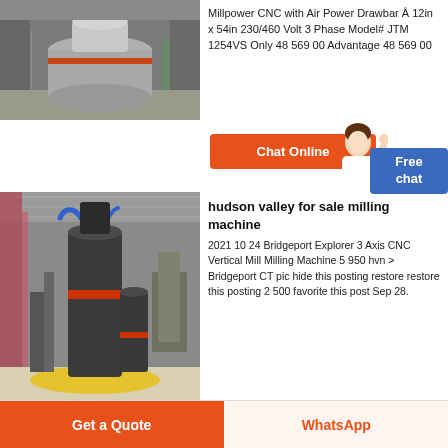[Figure (photo): Industrial milling machine or grinding equipment in a factory setting, large cylindrical metal machine with pipes and industrial components visible.]
Millpower CNC with Air Power Drawbar Â 12in x 54in 230/460 Volt 3 Phase Model# JTM 1254VS Only 48 569 00 Advantage 48 569 00
[Figure (photo): Large industrial vertical milling machine or Raymond mill inside a factory hall with high ceilings, steel structure, and industrial equipment around it.]
hudson valley for sale milling machine
2021 10 24 Bridgeport Explorer 3 Axis CNC Vertical Mill Milling Machine 5 950 hvn > Bridgeport CT pic hide this posting restore restore this posting 2 500 favorite this post Sep 28.
Chat Online
Free chat
Get a Quote
WhatsApp